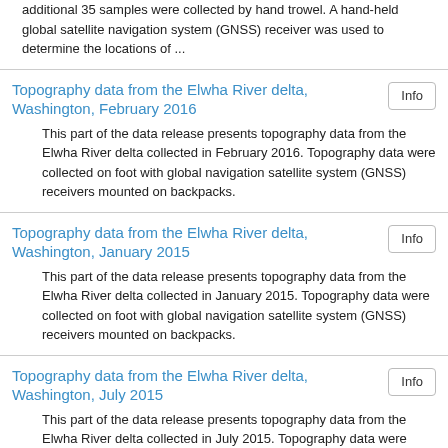additional 35 samples were collected by hand trowel. A hand-held global satellite navigation system (GNSS) receiver was used to determine the locations of ...
Topography data from the Elwha River delta, Washington, February 2016
This part of the data release presents topography data from the Elwha River delta collected in February 2016. Topography data were collected on foot with global navigation satellite system (GNSS) receivers mounted on backpacks.
Topography data from the Elwha River delta, Washington, January 2015
This part of the data release presents topography data from the Elwha River delta collected in January 2015. Topography data were collected on foot with global navigation satellite system (GNSS) receivers mounted on backpacks.
Topography data from the Elwha River delta, Washington, July 2015
This part of the data release presents topography data from the Elwha River delta collected in July 2015. Topography data were collected on foot with global navigation satellite system (GNSS) receivers mounted on backpacks.